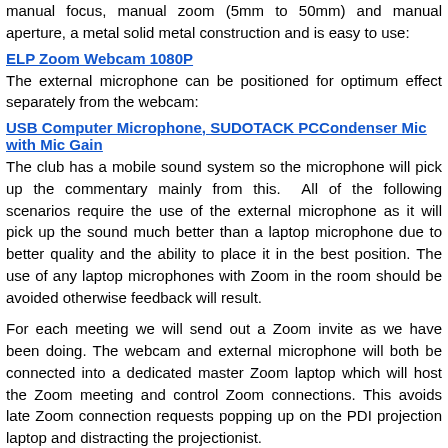manual focus, manual zoom (5mm to 50mm) and manual aperture, a metal solid metal construction and is easy to use:
ELP Zoom Webcam 1080P
The external microphone can be positioned for optimum effect separately from the webcam:
USB Computer Microphone, SUDOTACK PCCondenser Mic with Mic Gain
The club has a mobile sound system so the microphone will pick up the commentary mainly from this. All of the following scenarios require the use of the external microphone as it will pick up the sound much better than a laptop microphone due to better quality and the ability to place it in the best position. The use of any laptop microphones with Zoom in the room should be avoided otherwise feedback will result.
For each meeting we will send out a Zoom invite as we have been doing. The webcam and external microphone will both be connected into a dedicated master Zoom laptop which will host the Zoom meeting and control Zoom connections. This avoids late Zoom connection requests popping up on the PDI projection laptop and distracting the projectionist.
PDI Competitions
The club uses EER for PDI competitions and we will use this in the